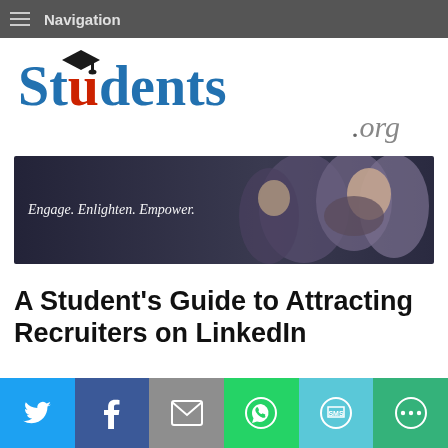Navigation
[Figure (logo): Students.org logo with graduation cap icon over the 'd' in Students, in blue serif font with .org in grey italic]
[Figure (photo): Banner image with people in background, text overlay reading 'Engage. Enlighten. Empower.']
A Student's Guide to Attracting Recruiters on LinkedIn
[Figure (infographic): Social sharing bar with Twitter, Facebook, Email, WhatsApp, SMS, and Share buttons]